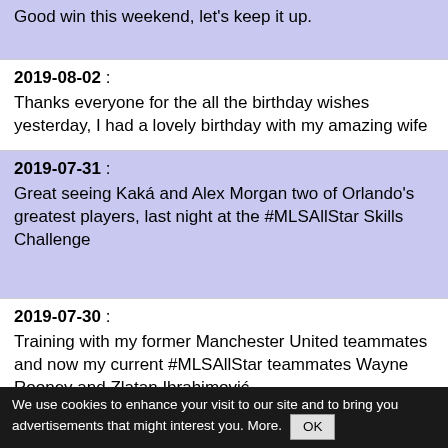Good win this weekend, let's keep it up.
2019-08-02 :
Thanks everyone for the all the birthday wishes yesterday, I had a lovely birthday with my amazing wife
2019-07-31 :
Great seeing Kaká and Alex Morgan two of Orlando's greatest players, last night at the #MLSAllStar Skills Challenge
2019-07-30 :
Training with my former Manchester United teammates and now my current #MLSAllStar teammates Wayne Rooney and Zlatan Ibrahimović
We use cookies to enhance your visit to our site and to bring you advertisements that might interest you. More. OK